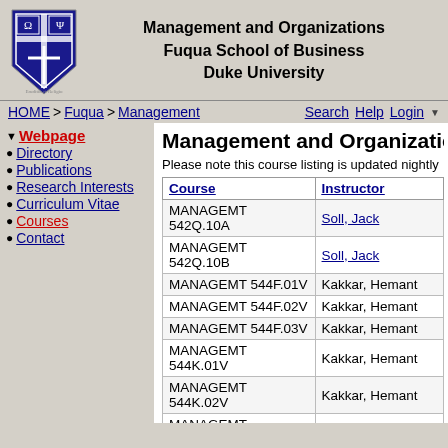Management and Organizations
Fuqua School of Business
Duke University
HOME > Fuqua > Management   Search Help Login
▼ Webpage
• Directory
• Publications
• Research Interests
• Curriculum Vitae
• Courses
• Contact
Management and Organizations
Please note this course listing is updated nightly
| Course | Instructor |
| --- | --- |
| MANAGEMT 542Q.10A | Soll, Jack |
| MANAGEMT 542Q.10B | Soll, Jack |
| MANAGEMT 544F.01V | Kakkar, Hemant |
| MANAGEMT 544F.02V | Kakkar, Hemant |
| MANAGEMT 544F.03V | Kakkar, Hemant |
| MANAGEMT 544K.01V | Kakkar, Hemant |
| MANAGEMT 544K.02V | Kakkar, Hemant |
| MANAGEMT 544K.03V | Kakkar, Hemant |
| MANAGEMT 545Q.20A | Skorburg, Joshua A |